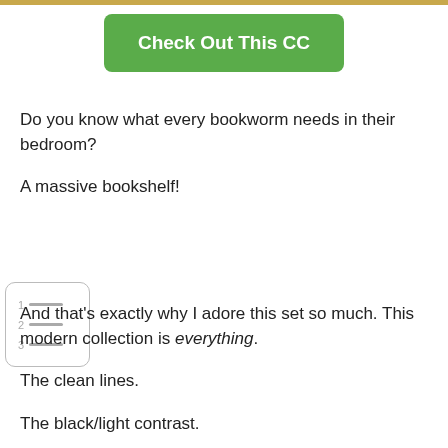[Figure (other): Green rounded rectangle button labeled 'Check Out This CC']
Do you know what every bookworm needs in their bedroom?
A massive bookshelf!
[Figure (other): Numbered list icon with grey lines inside a rounded rectangle border]
And that's exactly why I adore this set so much. This modern collection is everything.
The clean lines.
The black/light contrast.
The bookshelf. Have I mentioned the bookshelf?!